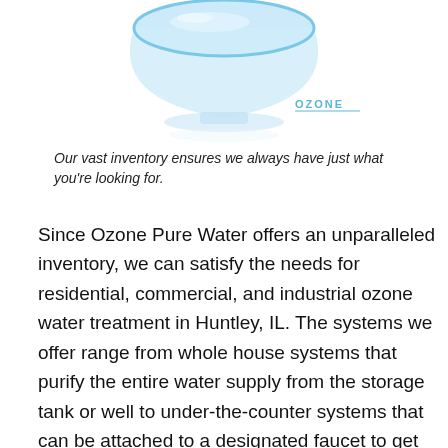[Figure (photo): A transparent glass bowl filled with blue/clear water shown from above, with an 'OZONE' brand logo visible in the lower right area, sitting on a reflective surface]
Our vast inventory ensures we always have just what you're looking for.
Since Ozone Pure Water offers an unparalleled inventory, we can satisfy the needs for residential, commercial, and industrial ozone water treatment in Huntley, IL. The systems we offer range from whole house systems that purify the entire water supply from the storage tank or well to under-the-counter systems that can be attached to a designated faucet to get clean, purified water directly out of the tap. Ozone Pure Water's systems are simple to install and come with all the equipment required to start enjoying your purified water now. With our expansive selection, you can always find the equipment you're looking for and have it quick.|Never worry about replacement